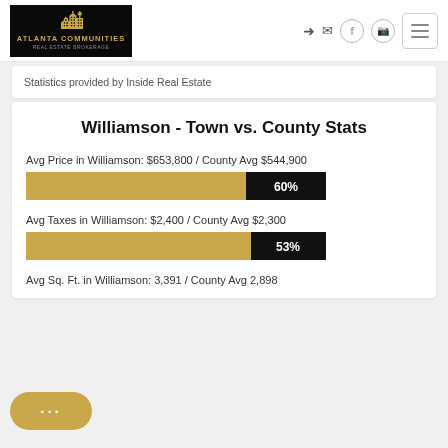[Figure (logo): Atlanta Communities Real Estate Brokerage logo — dark background with gold skyline and text]
Statistics provided by Inside Real Estate
Williamson - Town vs. County Stats
Avg Price in Williamson: $653,800 / County Avg $544,900
[Figure (bar-chart): Avg Price percentage bar]
Avg Taxes in Williamson: $2,400 / County Avg $2,300
[Figure (bar-chart): Avg Taxes percentage bar]
Avg Sq. Ft. in Williamson: 3,391 / County Avg 2,898